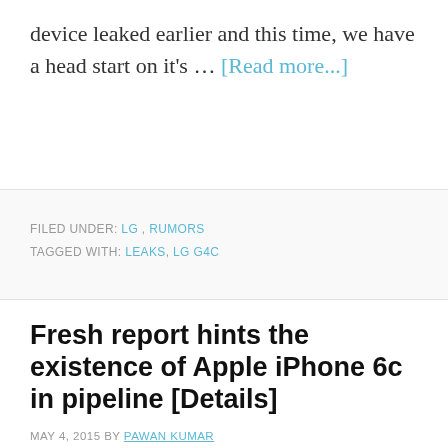device leaked earlier and this time, we have a head start on it's … [Read more...]
FILED UNDER: LG, RUMORS
TAGGED WITH: LEAKS, LG G4C
Fresh report hints the existence of Apple iPhone 6c in pipeline [Details]
MAY 4, 2015 BY PAWAN KUMAR
There are two things I'm going to start this thread. We all are